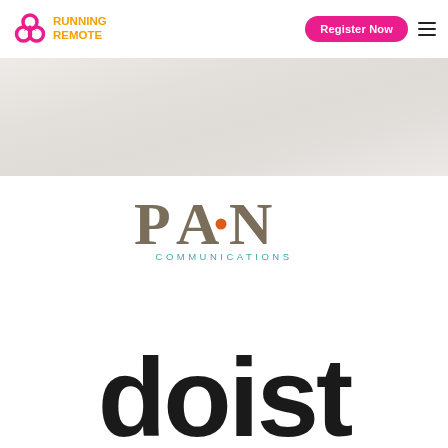[Figure (logo): Running Remote logo with pink/magenta clover icon and yellow-orange text 'RUNNING REMOTE']
[Figure (other): Register Now button in pink/magenta with rounded corners]
[Figure (other): Hamburger menu icon (three horizontal lines) in black]
[Figure (other): Blurred/washed-out hero background image area]
[Figure (logo): PAN Communications logo: large serif letters P, A (with orange dot in A triangle), N in taupe/brown, with 'COMMUNICATIONS' in teal small caps below]
[Figure (logo): Doist logo: large bold black lowercase text 'doist' partially cropped at bottom of page]